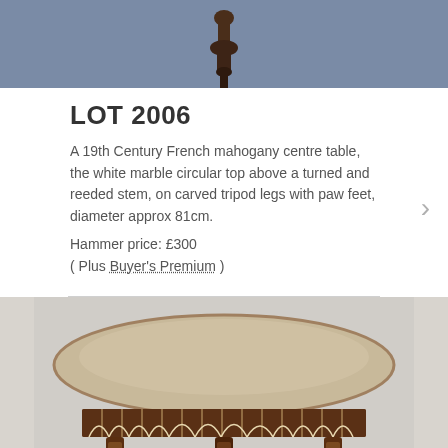[Figure (photo): Top portion of an antique table with a dark wooden finial/knob against a blue-grey background]
LOT 2006
A 19th Century French mahogany centre table, the white marble circular top above a turned and reeded stem, on carved tripod legs with paw feet, diameter approx 81cm.
Hammer price: £300
( Plus Buyer's Premium )
[Figure (photo): A 19th Century French mahogany centre table with a circular marble top, ornate fretwork apron, and turned legs, photographed against a light grey background]